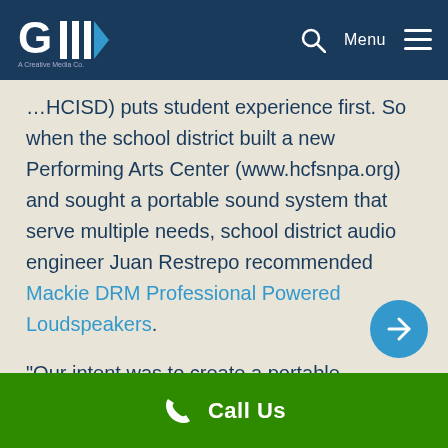GIIW logo and navigation with search and Menu
(…HCISD) puts student experience first. So when the school district built a new Performing Arts Center (www.hcfsnpa.org) and sought a portable sound system that serve multiple needs, school district audio engineer Juan Restrepo recommended Mackie DRM Professional Powered Loudspeakers.
“Our intent was to create a portable reinforcement solution that could be housed at the Performing Arts Center but moved around the district as needed for specific events at various schools,” the Colombian native and Berklee College of Music alumnus explains. “I was given a budget, and I went to the NAMM
Call Us